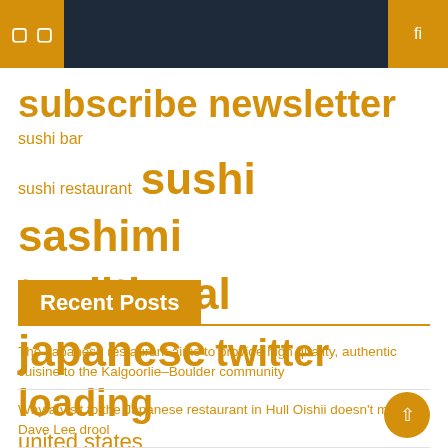☰ ☐ fi
subscribe newsletter  sushi bar  sushi restaurant  sushi sashimi  traditional japanese  twitter loading  united states
Recent Posts
The Japanese restaurant aims to provide high quality, authentic cuisine to the Kalgoorlie–Boulder community
Why a visit to the Japanese restaurant in Hull Oishii doesn't make Dave Lee drool
Opening of the new Japanese restaurant and multi-sensory experience MUSH in Manchester